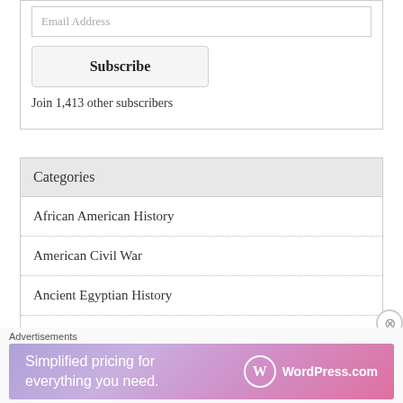Email Address
Subscribe
Join 1,413 other subscribers
Categories
African American History
American Civil War
Ancient Egyptian History
Ancient Greek History
Ancient History
Advertisements
[Figure (screenshot): WordPress.com advertisement banner: 'Simplified pricing for everything you need.' with WordPress.com logo]